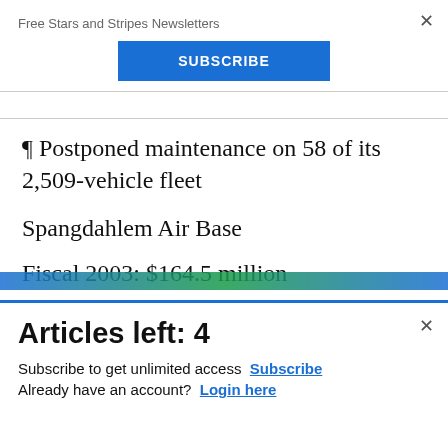Free Stars and Stripes Newsletters
SUBSCRIBE
¶ Postponed maintenance on 58 of its 2,509-vehicle fleet
Spangdahlem Air Base
Fiscal 2003: $164.5 million
Articles left: 4
Subscribe to get unlimited access  Subscribe
Already have an account?  Login here